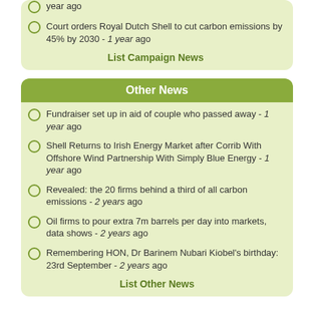year ago
Court orders Royal Dutch Shell to cut carbon emissions by 45% by 2030 - 1 year ago
List Campaign News
Other News
Fundraiser set up in aid of couple who passed away - 1 year ago
Shell Returns to Irish Energy Market after Corrib With Offshore Wind Partnership With Simply Blue Energy - 1 year ago
Revealed: the 20 firms behind a third of all carbon emissions - 2 years ago
Oil firms to pour extra 7m barrels per day into markets, data shows - 2 years ago
Remembering HON, Dr Barinem Nubari Kiobel's birthday: 23rd September - 2 years ago
List Other News